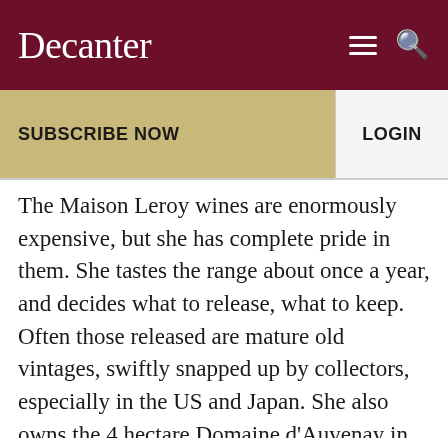Decanter
SUBSCRIBE NOW
LOGIN
The Maison Leroy wines are enormously expensive, but she has complete pride in them. She tastes the range about once a year, and decides what to release, what to keep. Often those released are mature old vintages, swiftly snapped up by collectors, especially in the US and Japan. She also owns the 4 hectare Domaine d'Auvenay in St-Romain, which her husband Marcel Bize ran until his death a few years ago. Now she runs it by